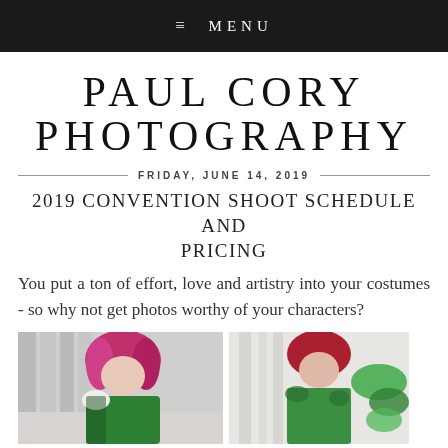≡ MENU
PAUL CORY PHOTOGRAPHY
FRIDAY, JUNE 14, 2019
2019 CONVENTION SHOOT SCHEDULE AND PRICING
You put a ton of effort, love and artistry into your costumes - so why not get photos worthy of your characters?
[Figure (photo): Two cosplay photos side by side - left shows a woman with bright pink/red hair in a green costume with white columns background, right shows another cosplay shot with white architecture background]